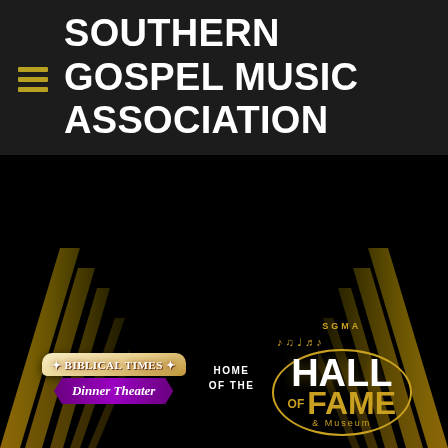SOUTHERN GOSPEL MUSIC ASSOCIATION
[Figure (logo): Biblical Times Dinner Theater logo with scroll background and purple ribbon, alongside SGMA Hall of Fame & Museum oval logo in gold, connected by 'HOME OF THE' text. Gold award rays on sides.]